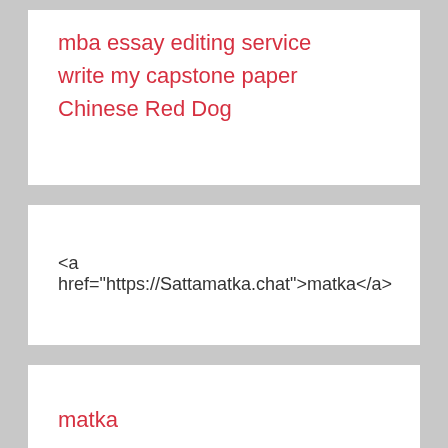mba essay editing service
write my capstone paper
Chinese Red Dog
<a href="https://Sattamatka.chat">matka</a>
matka
IDN Poker